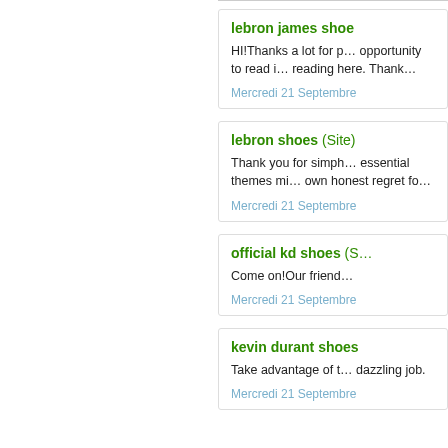lebron james shoe
HI!Thanks a lot for providing the opportunity to read it. Thanks for reading here. Thank…
Mercredi 21 Septembre
lebron shoes (Site)
Thank you for simply… essential themes mi… own honest regret fo…
Mercredi 21 Septembre
official kd shoes (S…
Come on!Our friend…
Mercredi 21 Septembre
kevin durant shoes
Take advantage of t… dazzling job.
Mercredi 21 Septembre